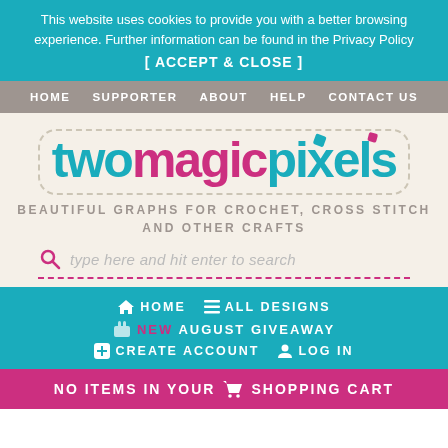This website uses cookies to provide you with a better browsing experience. Further information can be found in the Privacy Policy
[ ACCEPT & CLOSE ]
HOME  SUPPORTER  ABOUT  HELP  CONTACT US
[Figure (logo): twomagicpixels logo in teal and pink rounded font with dashed border and two colored square dots]
BEAUTIFUL GRAPHS FOR CROCHET, CROSS STITCH AND OTHER CRAFTS
type here and hit enter to search
HOME  ALL DESIGNS
NEW AUGUST GIVEAWAY
CREATE ACCOUNT  LOG IN
NO ITEMS IN YOUR SHOPPING CART